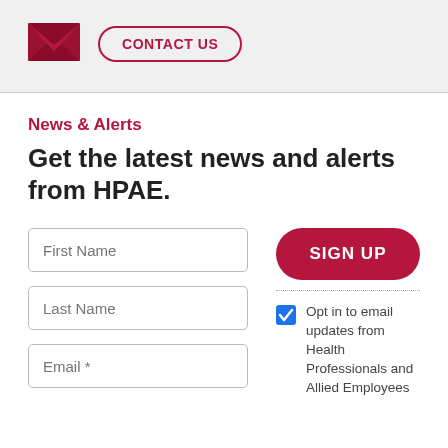[Figure (illustration): Email envelope icon (dark red/crimson) followed by a 'CONTACT US' button with crimson border and text on a light gray background]
News & Alerts
Get the latest news and alerts from HPAE.
[Figure (screenshot): Web form with First Name, Last Name, and Email* input fields on the left, a red SIGN UP button and an opt-in checkbox with text 'Opt in to email updates from Health Professionals and Allied Employees' on the right]